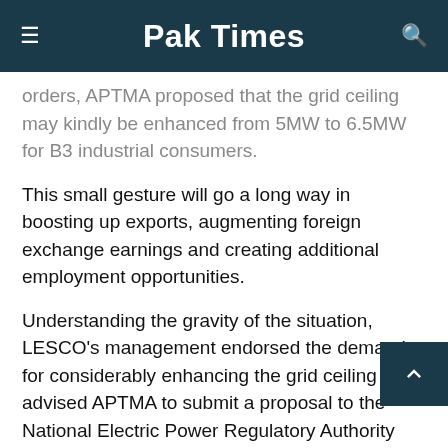Pak Times
orders, APTMA proposed that the grid ceiling may kindly be enhanced from 5MW to 6.5MW for B3 industrial consumers.
This small gesture will go a long way in boosting up exports, augmenting foreign exchange earnings and creating additional employment opportunities.
Understanding the gravity of the situation, LESCO's management endorsed the demand for considerably enhancing the grid ceiling and advised APTMA to submit a proposal to the National Electric Power Regulatory Authority (NEPRA) for across the board implementation of the policy in this regard. “LESCO will assist APTMNA over issues subject to technical capacities,” it was promised.